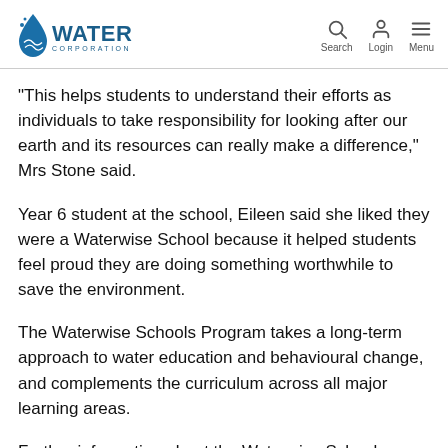Water Corporation — Search Login Menu
“This helps students to understand their efforts as individuals to take responsibility for looking after our earth and its resources can really make a difference,” Mrs Stone said.
Year 6 student at the school, Eileen said she liked they were a Waterwise School because it helped students feel proud they are doing something worthwhile to save the environment.
The Waterwise Schools Program takes a long-term approach to water education and behavioural change, and complements the curriculum across all major learning areas.
Further information about the Waterwise Schools